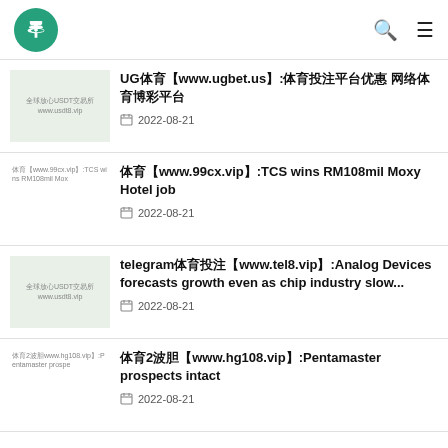Tether logo, search icon, menu icon
UG体育【www.ugbet.us】:体育投注平台优惠 网络体育博彩平台 | 2022-08-21
体育【www.99cx.vip】:TCS wins RM108mil Moxy Hotel job | 2022-08-21
telegram体育投注【www.tel8.vip】:Analog Devices forecasts growth even as chip industry slow... | 2022-08-21
体育2波胆【www.hg108.vip】:Pentamaster prospects intact | 2022-08-21